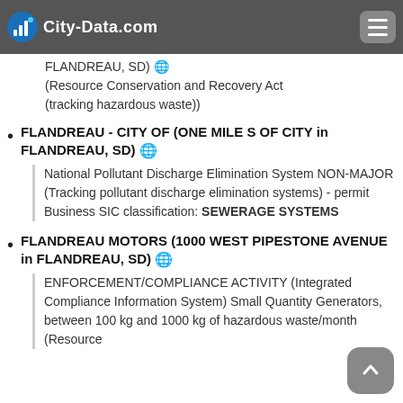City-Data.com
FLANDREAU, SD) 🌐 (Resource Conservation and Recovery Act (tracking hazardous waste))
FLANDREAU - CITY OF (ONE MILE S OF CITY in FLANDREAU, SD) 🌐
National Pollutant Discharge Elimination System NON-MAJOR (Tracking pollutant discharge elimination systems) - permit
Business SIC classification: SEWERAGE SYSTEMS
FLANDREAU MOTORS (1000 WEST PIPESTONE AVENUE in FLANDREAU, SD) 🌐
ENFORCEMENT/COMPLIANCE ACTIVITY (Integrated Compliance Information System) Small Quantity Generators, between 100 kg and 1000 kg of hazardous waste/month (Resource